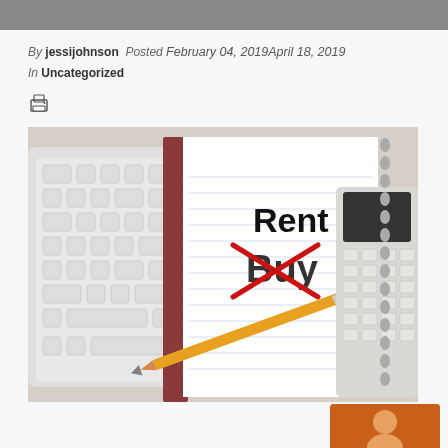By jessijohnson  Posted February 04, 2019April 18, 2019  In Uncategorized
[Figure (illustration): Print/document icon]
[Figure (photo): Photo of a keyboard, notebook with 'Rent' written and 'Buy' crossed out in red, a pencil, and a calculator — illustrating rent vs buy decision]
[Figure (photo): Partial thumbnail of a person, orange/brown background, bottom right corner]